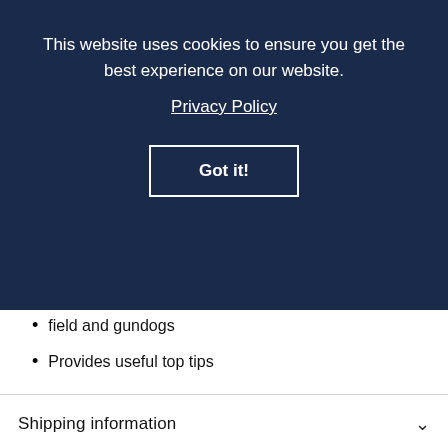This website uses cookies to ensure you get the best experience on our website. Privacy Policy
Got it!
field and gundogs
Provides useful top tips
Shipping information
Ask a question
Returns Policy
You may also like